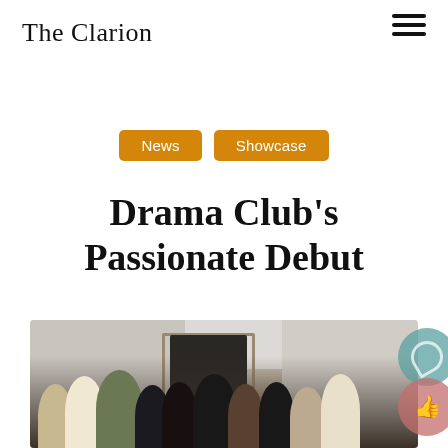The Clarion
News
Showcase
Drama Club's Passionate Debut
[Figure (photo): Group photo of Drama Club members standing together indoors in a lobby or hallway, smiling for the camera after their debut performance.]